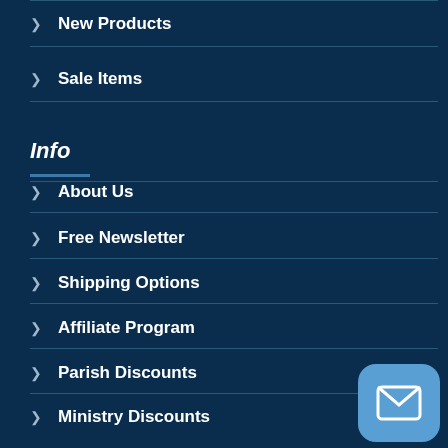New Products
Sale Items
Info
About Us
Free Newsletter
Shipping Options
Affiliate Program
Parish Discounts
Ministry Discounts
School Discounts
Retailer Discounts